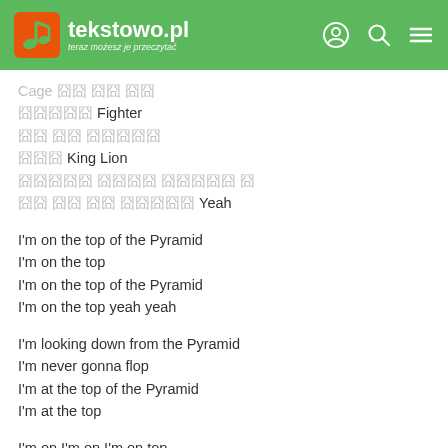tekstowo.pl – teraz możesz je przeczytać
Cage 🟫🟫 🟫🟫 🟫🟫
🟫🟫🟫🟫🟫 Fighter
🟫🟫 🟫🟫 🟫🟫🟫🟫🟫
🟫🟫🟫 King Lion
🟫🟫🟫🟫🟫 🟫🟫🟫🟫 🟫🟫🟫🟫🟫 🟫
🟫🟫 🟫🟫 🟫🟫 🟫🟫🟫🟫🟫 Yeah
I'm on the top of the Pyramid
I'm on the top
I'm on the top of the Pyramid
I'm on the top yeah yeah
I'm looking down from the Pyramid
I'm never gonna flop
I'm at the top of the Pyramid
I'm at the top
I'm on I'm on I'm on top
I'm on I'm on I'm on top
I'm on I'm on I'm on top